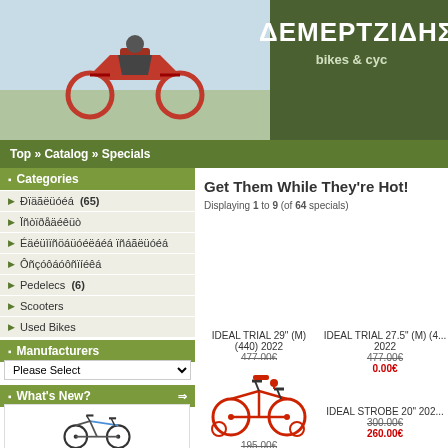[Figure (photo): Header banner with motorcycle/bike image and green background with store name ΔΕΜΕΡΤΖΙΔΗΣ bikes & cyc]
ΔΕΜΕΡΤΖΙΔΗΣ bikes & cyc
Top » Catalog » Specials
Categories
Ðïäãëüóéá (65)
Ïñòïðåäéêüò
Éäéüìïñöáüóéëáéá
Ôåóôáóôñïíéêá
Pedelecs (6)
Scooters
Used Bikes
Manufacturers
Please Select
What's New?
[Figure (photo): Mountain bike product image - IDEAL STROBE 29 L 480 XL 520 2022]
IDEAL STROBE 29" (L) (480) & (XL) (520) 2022
588.00€
Get Them While They're Hot!
Displaying 1 to 9 (of 64 specials)
IDEAL TRIAL 29" (M) (440) 2022
477.00€
0.00€
IDEAL TRIAL 27.5" (M) (4...) 2022
477.00€
0.00€
[Figure (photo): Red children's bicycle product image]
195.00€
175.00€
IDEAL STROBE 20" 202...
300.00€
260.00€